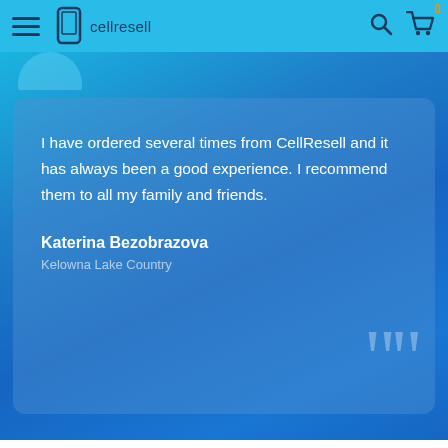cellresell — navigation bar with hamburger menu, logo, search icon, cart icon with badge 0
I have ordered several times from CellResell and it has always been a good experience. I recommend them to all my family and friends.

Katerina Bezobrazova
Kelowna Lake Country